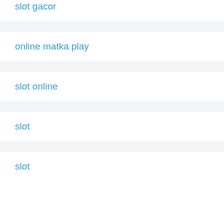slot gacor
online matka play
slot online
slot
slot